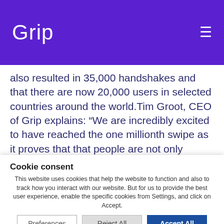Grip
also resulted in 35,000 handshakes and that there are now 20,000 users in selected countries around the world.Tim Groot, CEO of Grip explains: “We are incredibly excited to have reached the one millionth swipe as it proves that that people are not only downloading the app at events but using it effectively as their own personal business matchmaker. Overall, 55% of the people who use Grip make a connection
Cookie consent
This website uses cookies that help the website to function and also to track how you interact with our website. But for us to provide the best user experience, enable the specific cookies from Settings, and click on Accept.
Preferences | Reject All | Accept All